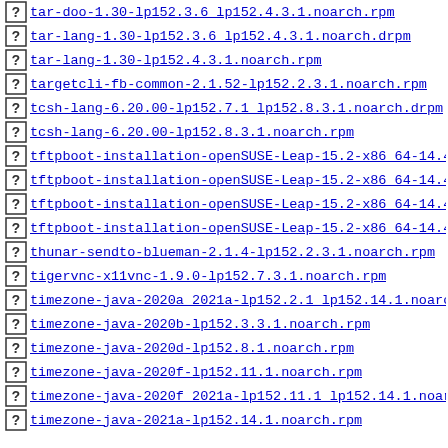tar-doo-1.30-lp152.3.6_lp152.4.3.1.noarch.rpm
tar-lang-1.30-lp152.3.6_lp152.4.3.1.noarch.drpm
tar-lang-1.30-lp152.4.3.1.noarch.rpm
targetcli-fb-common-2.1.52-lp152.2.3.1.noarch.rpm
tcsh-lang-6.20.00-lp152.7.1_lp152.8.3.1.noarch.drpm
tcsh-lang-6.20.00-lp152.8.3.1.noarch.rpm
tftpboot-installation-openSUSE-Leap-15.2-x86_64-14.47...
tftpboot-installation-openSUSE-Leap-15.2-x86_64-14.47...
tftpboot-installation-openSUSE-Leap-15.2-x86_64-14.47...
tftpboot-installation-openSUSE-Leap-15.2-x86_64-14.47...
thunar-sendto-blueman-2.1.4-lp152.2.3.1.noarch.rpm
tigervnc-x11vnc-1.9.0-lp152.7.3.1.noarch.rpm
timezone-java-2020a_2021a-lp152.2.1_lp152.14.1.noarch...
timezone-java-2020b-lp152.3.3.1.noarch.rpm
timezone-java-2020d-lp152.8.1.noarch.rpm
timezone-java-2020f-lp152.11.1.noarch.rpm
timezone-java-2020f_2021a-lp152.11.1_lp152.14.1.noarc...
timezone-java-2021a-lp152.14.1.noarch.rpm